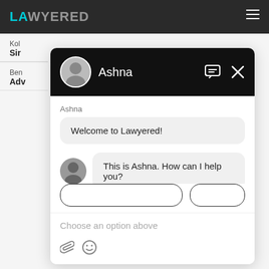LAWYERED
Kol
Sir
Ben
Adv
[Figure (screenshot): Chat popup widget from Lawyered legal services website showing conversation with agent Ashna. Header is black with avatar, name 'Ashna', message icon and X close button. Chat body shows welcome message 'Welcome to Lawyered!' and 'This is Ashna. How can I help you?' with partially visible button row, 'Choose an option above' placeholder, and attachment/emoji icons at bottom.]
Koz
Ker
Che
Tamil Nadu